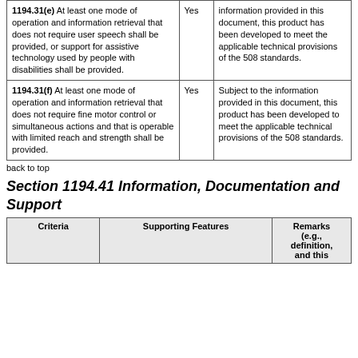| Criteria | Supporting Features | Remarks (e.g., definition, equivalent facilitation, scope of support provided) |
| --- | --- | --- |
| 1194.31(e) At least one mode of operation and information retrieval that does not require user speech shall be provided, or support for assistive technology used by people with disabilities shall be provided. | Yes | Subject to the information provided in this document, this product has been developed to meet the applicable technical provisions of the 508 standards. |
| 1194.31(f) At least one mode of operation and information retrieval that does not require fine motor control or simultaneous actions and that is operable with limited reach and strength shall be provided. | Yes | Subject to the information provided in this document, this product has been developed to meet the applicable technical provisions of the 508 standards. |
back to top
Section 1194.41 Information, Documentation and Support
| Criteria | Supporting Features | Remarks (e.g., definition, and this) |
| --- | --- | --- |